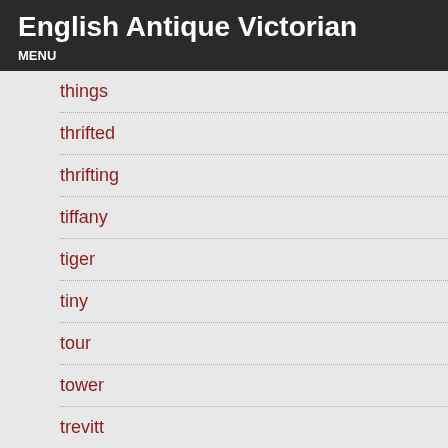English Antique Victorian
MENU
things
thrifted
thrifting
tiffany
tiger
tiny
tour
tower
trevitt
tried
truth
tunbridge
turn
ultimate